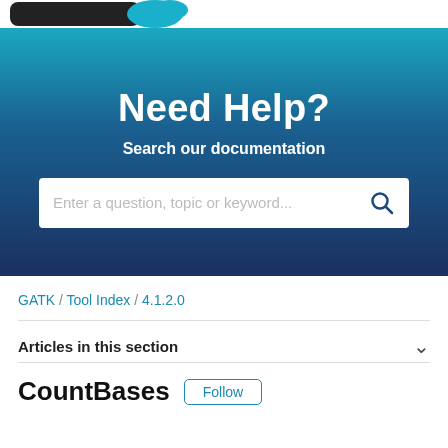[Figure (screenshot): Partial logo image at the top of the page — black and teal GATK logo cropped at the top edge]
Need Help?
Search our documentation
Enter a question, topic or keyword...
GATK / Tool Index / 4.1.2.0
Articles in this section
CountBases
Follow